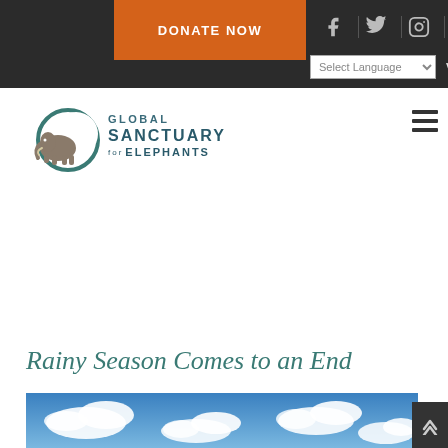DONATE NOW | f | Twitter | Instagram | YouTube | Select Language | VIEW CART
[Figure (logo): Global Sanctuary for Elephants logo with elephant and crescent moon graphic]
Rainy Season Comes to an End
[Figure (photo): Blue sky with white clouds — top portion of article hero image]